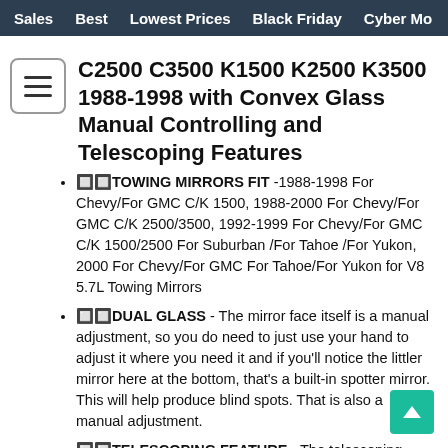Sales   Best   Lowest Prices   Black Friday   Cyber Mo
C2500 C3500 K1500 K2500 K3500 1988-1998 with Convex Glass Manual Controlling and Telescoping Features
🔲🔲TOWING MIRRORS FIT  -1988-1998 For Chevy/For GMC C/K 1500, 1988-2000 For Chevy/For GMC C/K 2500/3500, 1992-1999 For Chevy/For GMC C/K 1500/2500 For Suburban /For Tahoe /For Yukon, 2000 For Chevy/For GMC For Tahoe/For Yukon for V8 5.7L Towing Mirrors
🔲🔲DUAL GLASS  - The mirror face itself is a manual adjustment, so you do need to just use your hand to adjust it where you need it and if you'll notice the littler mirror here at the bottom, that's a built-in spotter mirror. This will help produce blind spots. That is also a manual adjustment.
🔲🔲TELESCOPING FEATURE  - The telescoping function makes it easy to see around the side of